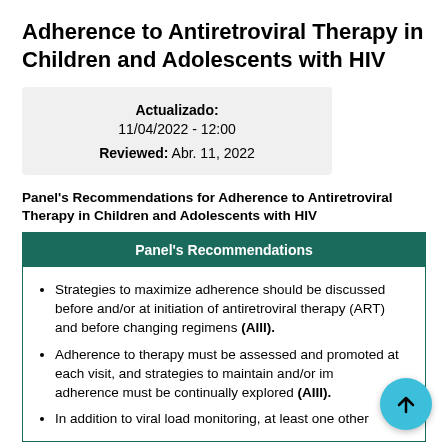Adherence to Antiretroviral Therapy in Children and Adolescents with HIV
Actualizado: 11/04/2022 - 12:00
Reviewed: Abr. 11, 2022
Panel's Recommendations for Adherence to Antiretroviral Therapy in Children and Adolescents with HIV
| Panel's Recommendations |
| --- |
| Strategies to maximize adherence should be discussed before and/or at initiation of antiretroviral therapy (ART) and before changing regimens (AIII). |
| Adherence to therapy must be assessed and promoted at each visit, and strategies to maintain and/or improve adherence must be continually explored (AIII). |
| In addition to viral load monitoring, at least one other |